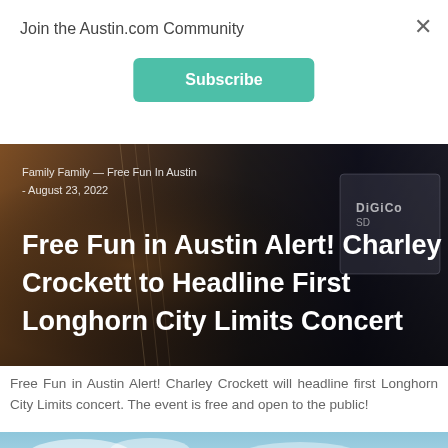Join the Austin.com Community
[Figure (screenshot): Teal Subscribe button]
[Figure (photo): Hero image of musician playing guitar on stage with 'Family — Family — Free Fun In Austin — August 23, 2022' breadcrumb and large white title text: Free Fun in Austin Alert! Charley Crockett to Headline First Longhorn City Limits Concert. DiGiCo logo visible on equipment in background.]
Free Fun in Austin Alert! Charley Crockett will headline first Longhorn City Limits concert. The event is free and open to the public!
[Figure (screenshot): Bottom partial image showing sky background with teal text 'FOR FREE EVENTS THIS...' partially visible at bottom edge]